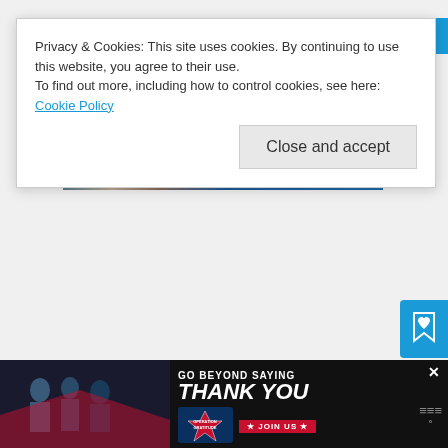Privacy & Cookies: This site uses cookies. By continuing to use this website, you agree to their use.
To find out more, including how to control cookies, see here: Cookie Policy
[Figure (screenshot): Cookie consent banner with Close and accept button, overlaying a partially visible webpage with a blue image strip and sidebar action buttons (save/heart and share icons), and a bottom advertisement banner reading GO BEYOND SAYING THANK YOU with Operation Gratitude branding]